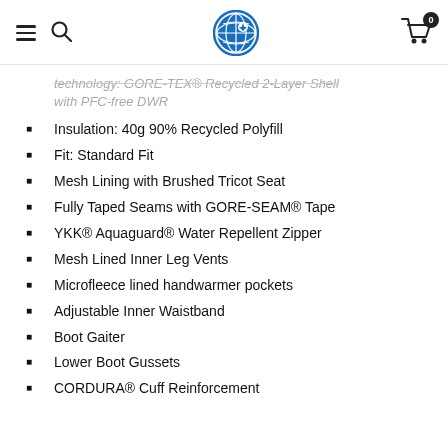Glacier Ski Shop logo, navigation, search, and cart icons
technology: GORE-TEX® Recycled 2-Layer Shell with PFC-free DWR
Insulation: 40g 90% Recycled Polyfill
Fit: Standard Fit
Mesh Lining with Brushed Tricot Seat
Fully Taped Seams with GORE-SEAM® Tape
YKK® Aquaguard® Water Repellent Zipper
Mesh Lined Inner Leg Vents
Microfleece lined handwarmer pockets
Adjustable Inner Waistband
Boot Gaiter
Lower Boot Gussets
CORDURA® Cuff Reinforcement